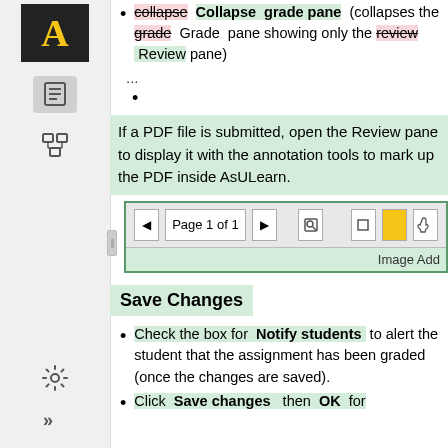[Figure (screenshot): Application sidebar with logo (letter A in gold on black), document icon, tree/hierarchy icon, gear icon, and chevron icons]
collapse [strikethrough] Collapse grade pane (collapses the grade [strikethrough] Grade pane showing only the review [strikethrough] Review pane)
...
If a PDF file is submitted, open the Review pane to display it with the annotation tools to mark up the PDF inside AsULearn.
[Figure (screenshot): PDF viewer toolbar showing: left arrow button, Page 1 of 1, right arrow button, zoom/search icon, rectangle icon, yellow square icon, hand/pointer icon. Below toolbar: 'Image Add' label visible at right.]
Save Changes
Check the box for Notify students to alert the student that the assignment has been graded (once the changes are saved).
Click Save changes then OK for